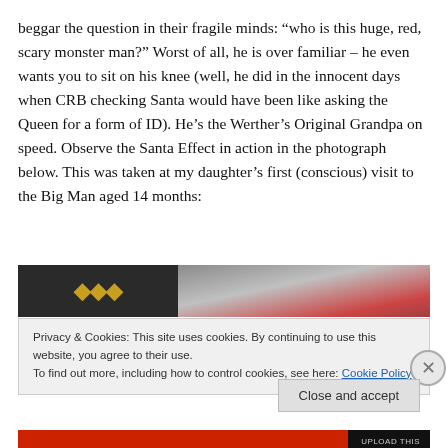beggar the question in their fragile minds: “who is this huge, red, scary monster man?” Worst of all, he is over familiar – he even wants you to sit on his knee (well, he did in the innocent days when CRB checking Santa would have been like asking the Queen for a form of ID). He’s the Werther’s Original Grandpa on speed. Observe the Santa Effect in action in the photograph below. This was taken at my daughter’s first (conscious) visit to the Big Man aged 14 months:
[Figure (photo): Partial view of a photograph showing a dark left section with bold text/logo and right section showing a Santa Claus figure in red hat]
Privacy & Cookies: This site uses cookies. By continuing to use this website, you agree to their use.
To find out more, including how to control cookies, see here: Cookie Policy
Close and accept